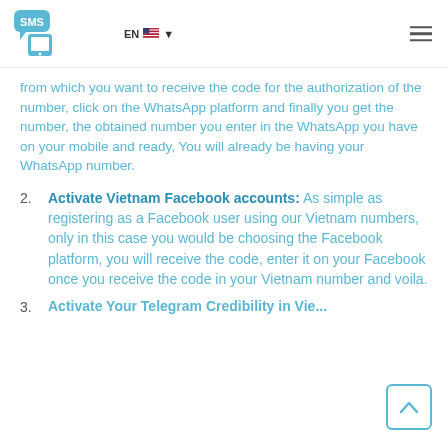SMS logo | EN | hamburger menu
from which you want to receive the code for the authorization of the number, click on the WhatsApp platform and finally you get the number, the obtained number you enter in the WhatsApp you have on your mobile and ready, You will already be having your WhatsApp number.
2. Activate Vietnam Facebook accounts: As simple as registering as a Facebook user using our Vietnam numbers, only in this case you would be choosing the Facebook platform, you will receive the code, enter it on your Facebook once you receive the code in your Vietnam number and voila.
3. Activate Your Telegram Credibility...